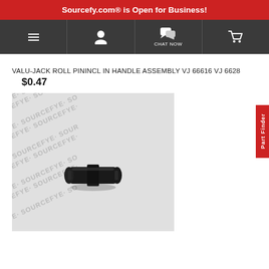Sourcefy.com® is Open for Business!
[Figure (screenshot): Website navigation bar with hamburger menu, user account icon, chat now button with speech bubble icon, and shopping cart icon on dark gray background]
VALU-JACK ROLL PININCL IN HANDLE ASSEMBLY VJ 66616 VJ 6628
$0.47
[Figure (photo): A small black roll pin / spring pin part photographed against a white watermarked Sourcefy background. The watermark text 'SOURCEFYE' repeats diagonally across the image.]